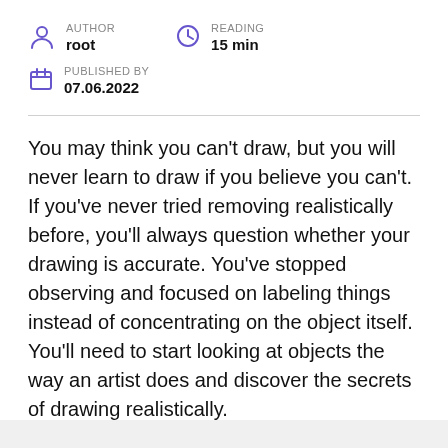AUTHOR root   READING 15 min
PUBLISHED BY 07.06.2022
You may think you can't draw, but you will never learn to draw if you believe you can't. If you've never tried removing realistically before, you'll always question whether your drawing is accurate. You've stopped observing and focused on labeling things instead of concentrating on the object itself. You'll need to start looking at objects the way an artist does and discover the secrets of drawing realistically.